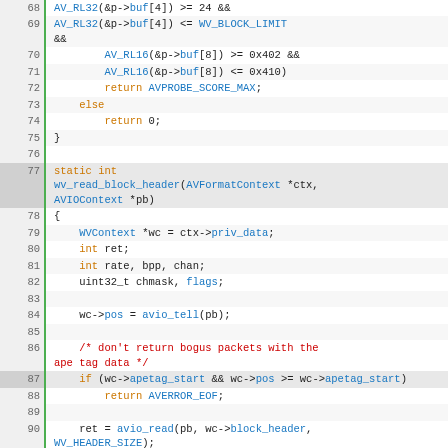[Figure (screenshot): Source code listing in C (WavPack demuxer) showing lines 68–94, with syntax highlighting: blue for identifiers/macros, orange for keywords, red for comments. Line numbers in left gutter with green left border. Highlighted rows for lines 77 and 87.]